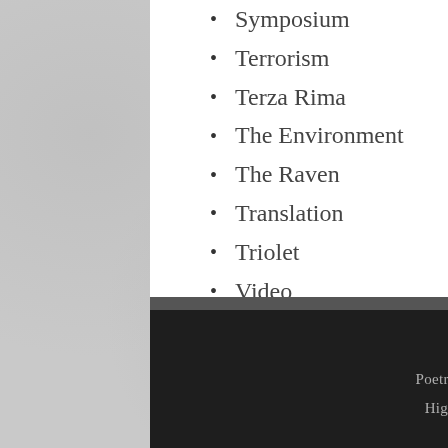Symposium
Terrorism
Terza Rima
The Environment
The Raven
Translation
Triolet
Video
Villanelle
Poetry Resources   Poetry Readings   High School Poetry   Translation